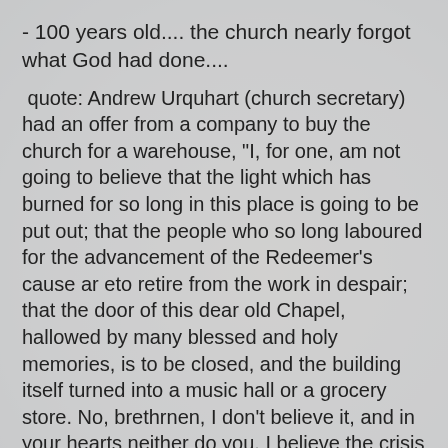- 100 years old.... the church nearly forgot what God had done....
quote: Andrew Urquhart (church secretary) had an offer from a company to buy the church for a warehouse, "I, for one, am not going to believe that the light which has burned for so long in this place is going to be put out; that the people who so long laboured for the advancement of the Redeemer's cause ar eto retire from the work in despair; that the door of this dear old Chapel, hallowed by many blessed and holy memories, is to be closed, and the building itself turned into a music hall or a grocery store. No, brethrnen, I don't believe it, and in your hearts neither do you. I believe the crisis is of God, and he willb ring us through it."